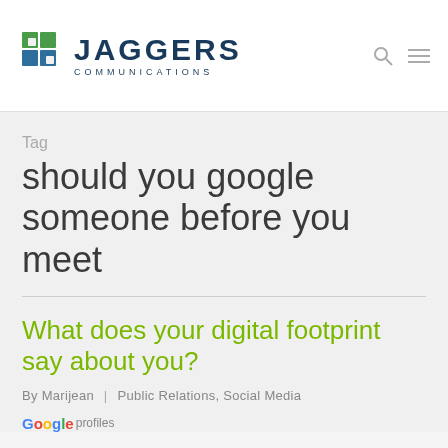[Figure (logo): Jaggers Communications logo with icon and text]
Tag
should you google someone before you meet
What does your digital footprint say about you?
By Marijean | Public Relations, Social Media
[Figure (logo): Google profiles logo]